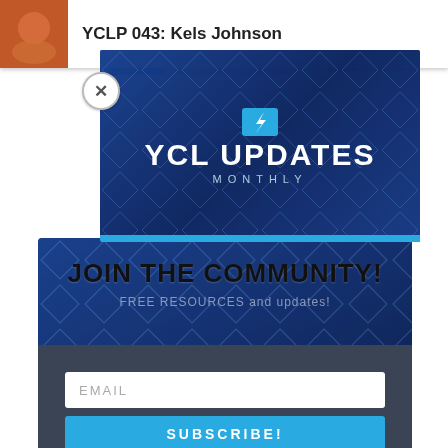YCLP 043: Kels Johnson
[Figure (screenshot): YCL Updates Monthly newsletter signup panel with blue diamond mosaic background featuring faces, large white text YCL UPDATES MONTHLY with lightning bolt logo]
JOIN THE COMMUNITY!
FREE RESOURCES and updates!
EMAIL
SUBSCRIBE!